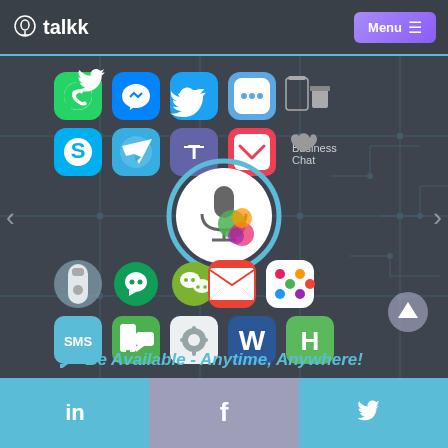talkk | Menu
[Figure (screenshot): Talkk app webpage showing a central microphone/voice assistant icon surrounded by messaging app icons (WhatsApp, Messenger, Twitter, iMessage, Skype, Telegram, Teams, Pocket, Apple Business Chat, Amazon Echo, Google Hangouts, WeChat, Gmail, Slack, SMS, mobile messenger, settings, Microsoft Word, HireVue) arranged in a grid layout on a dark background with circuit board pattern]
Be Available - Anytime, Anywhere!
in  f  (twitter bird)